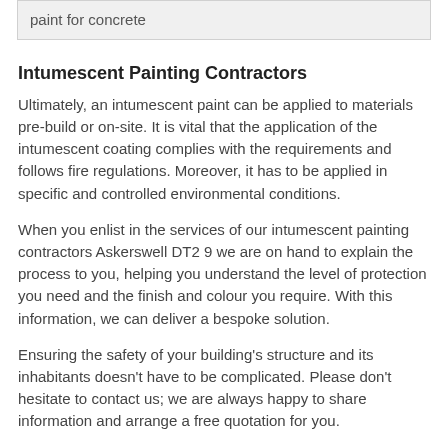paint for concrete
Intumescent Painting Contractors
Ultimately, an intumescent paint can be applied to materials pre-build or on-site. It is vital that the application of the intumescent coating complies with the requirements and follows fire regulations. Moreover, it has to be applied in specific and controlled environmental conditions.
When you enlist in the services of our intumescent painting contractors Askerswell DT2 9 we are on hand to explain the process to you, helping you understand the level of protection you need and the finish and colour you require. With this information, we can deliver a bespoke solution.
Ensuring the safety of your building's structure and its inhabitants doesn't have to be complicated. Please don't hesitate to contact us; we are always happy to share information and arrange a free quotation for you.